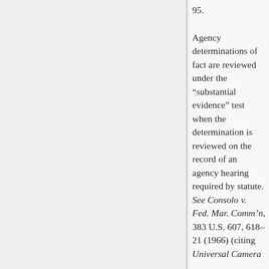95.
Agency determinations of fact are reviewed under the “substantial evidence” test when the determination is reviewed on the record of an agency hearing required by statute. See Consolo v. Fed. Mar. Comm’n, 383 U.S. 607, 618–21 (1966) (citing Universal Camera